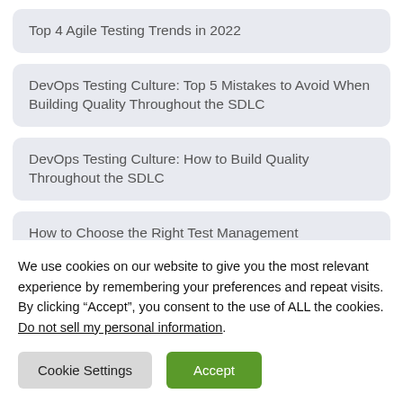Top 4 Agile Testing Trends in 2022
DevOps Testing Culture: Top 5 Mistakes to Avoid When Building Quality Throughout the SDLC
DevOps Testing Culture: How to Build Quality Throughout the SDLC
How to Choose the Right Test Management
We use cookies on our website to give you the most relevant experience by remembering your preferences and repeat visits. By clicking “Accept”, you consent to the use of ALL the cookies.
Do not sell my personal information.